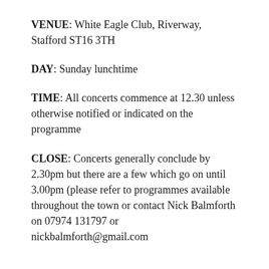VENUE: White Eagle Club, Riverway, Stafford ST16 3TH
DAY: Sunday lunchtime
TIME: All concerts commence at 12.30 unless otherwise notified or indicated on the programme
CLOSE: Concerts generally conclude by 2.30pm but there are a few which go on until 3.00pm (please refer to programmes available throughout the town or contact Nick Balmforth on 07974 131797 or nickbalmforth@gmail.com